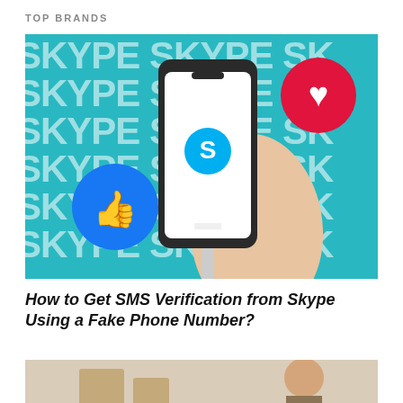TOP BRANDS
[Figure (photo): A hand holding a smartphone displaying the Skype app logo on a white screen, against a teal Skype-branded background with repeating Skype logos. A red heart reaction circle and a blue Facebook thumbs-up circle are overlaid on the background. A charging cable hangs from the phone.]
How to Get SMS Verification from Skype Using a Fake Phone Number?
[Figure (photo): Partial image of a person near cardboard boxes, cropped at the bottom of the page.]